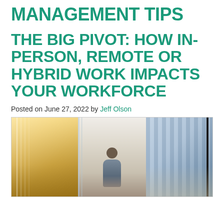MANAGEMENT TIPS
THE BIG PIVOT: HOW IN-PERSON, REMOTE OR HYBRID WORK IMPACTS YOUR WORKFORCE
Posted on June 27, 2022 by Jeff Olson
[Figure (photo): Three-panel image: left panel shows a warm sunlit office interior with curtains/blinds; center panel shows a blurred person walking down a modern corridor with glass walls and wood paneling; right panel shows a modern glass building exterior.]